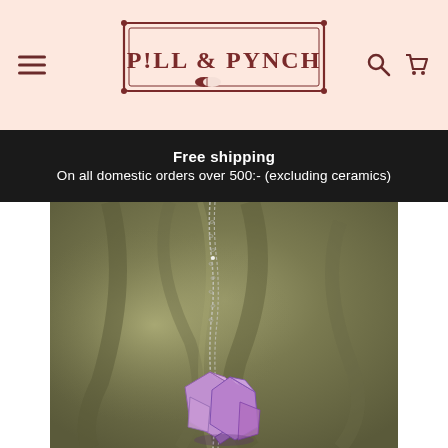Pill & Punch — navigation header with logo, hamburger menu, search and cart icons
Free shipping
On all domestic orders over 500:- (excluding ceramics)
[Figure (photo): Close-up product photo of an amethyst crystal necklace on a chain, displayed against an olive-green fuzzy fabric background.]